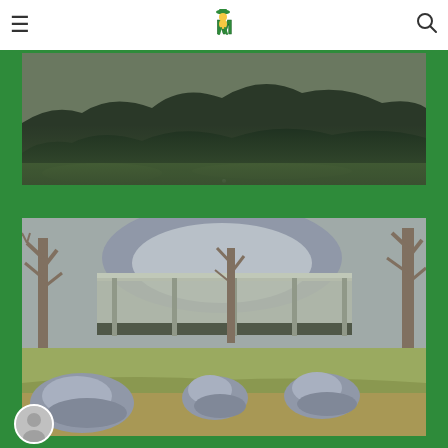Menu | M Logo | Search
[Figure (photo): Landscape photo showing green trees and fields with mountains in background]
[Figure (photo): Outdoor campus photo showing bare trees, a covered shelter/pavilion building, rocky sculptures on grass, and mountains in background]